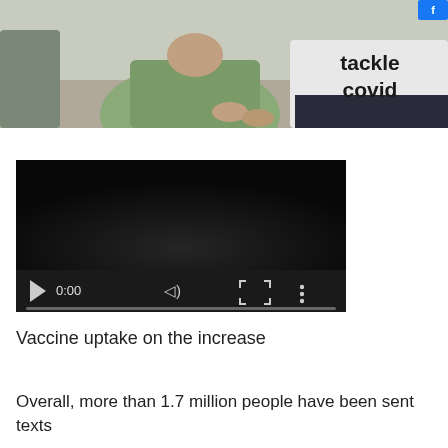[Figure (photo): Two people sitting together; one wearing a green t-shirt, the other wearing a white t-shirt with 'tackle covid' printed on it.]
[Figure (screenshot): Embedded video player showing a dark screen with playback controls: play button, time display '0:00', volume icon, fullscreen icon, and options menu icon. A progress bar appears at the bottom.]
Vaccine uptake on the increase
Overall, more than 1.7 million people have been sent texts